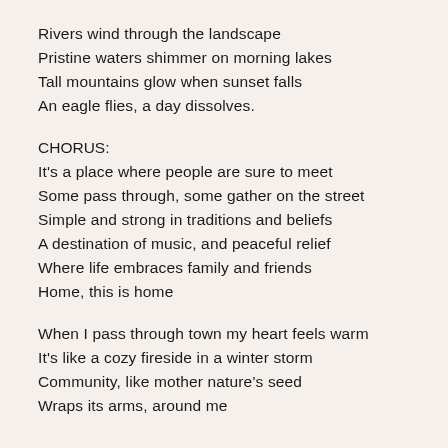Rivers wind through the landscape
Pristine waters shimmer on morning lakes
Tall mountains glow when sunset falls
An eagle flies, a day dissolves.
CHORUS:
It's a place where people are sure to meet
Some pass through, some gather on the street
Simple and strong in traditions and beliefs
A destination of music, and peaceful relief
Where life embraces family and friends
Home, this is home
When I pass through town my heart feels warm
It's like a cozy fireside in a winter storm
Community, like mother nature's seed
Wraps its arms, around me